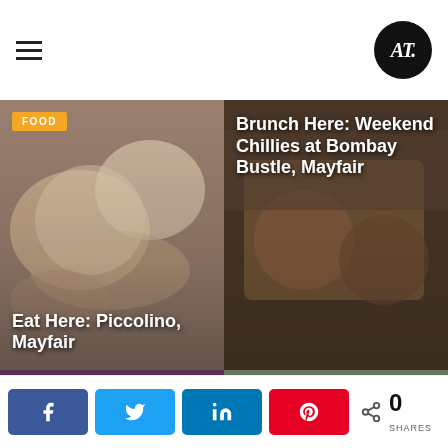AT [logo]
[Figure (photo): Card 1: Food photo with pasta/seafood dish, orange FOOD tag, title: Eat Here: Piccolino, Mayfair]
[Figure (photo): Card 2: Indian food brunch photo with chilli dishes, title: Brunch Here: Weekend Chillies at Bombay Bustle, Mayfair]
[Figure (photo): Card 3: Carnival performers in feathered costumes, orange FOOD tag, title: Eat Here: Ayllu, Paddington]
[Figure (photo): Card 4: Restaurant food spread with orange juice and various dishes, orange FOOD tag, title: 6 of the Best: August Restaurant Openings in London]
< 0 SHARES [Facebook] [Twitter] [LinkedIn] [Pinterest]